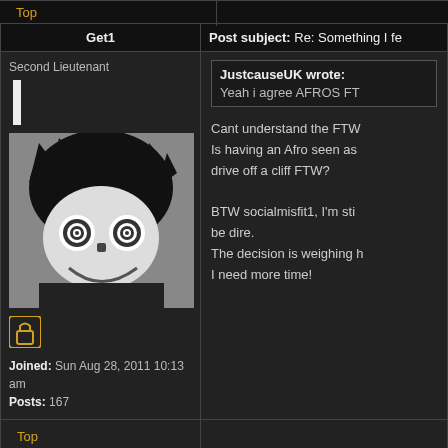Top
Get1
Post subject: Re: Something I fe
Second Lieutenant
[Figure (illustration): Anime-style character avatar with wild black hair, big spiral eyes, and a wide grin, drawn in black and white]
Joined: Sun Aug 28, 2011 10:13 am
Posts: 167
JustcauseUK wrote:
Yeah i agree AFROS FT
Cant understand the FTW
Is having an Afro seen as
drive off a cliff FTW?

BTW socialmisfit1, I'm sti
be dire.
The decision is weighing h
I need more time!
Top
socialmisfit1
Post subject: Re: Something I feel very stro
Major
bump